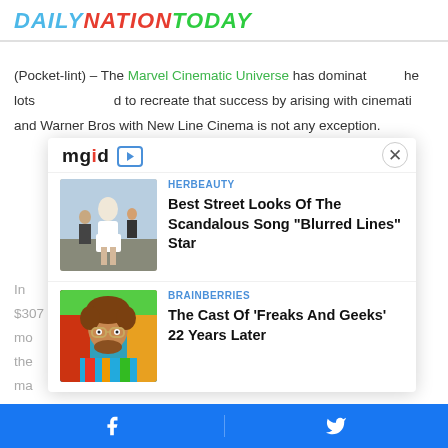DAILYNATIONTODAY
(Pocket-lint) – The Marvel Cinematic Universe has dominated the lots [mgid] to recreate that success by arising with cinematic and Warner Bros with New Line Cinema is not any exception.
[Figure (screenshot): MGID ad overlay panel with two sponsored content items: 1) HERBEAUTY - Best Street Looks Of The Scandalous Song "Blurred Lines" Star, with photo of woman in white dress; 2) BRAINBERRIES - The Cast Of 'Freaks And Geeks' 22 Years Later, with photo of man with curly hair and colorful shirt. Close button (X) in top right. MGID logo with play icon.]
Facebook Twitter share bar